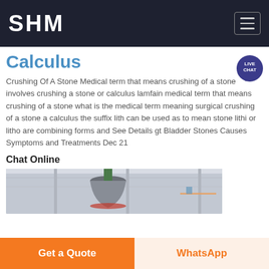SHM
Calculus
Crushing Of A Stone Medical term that means crushing of a stone involves crushing a stone or calculus lamfain medical term that means crushing of a stone what is the medical term meaning surgical crushing of a stone a calculus the suffix lith can be used as to mean stone lithi or litho are combining forms and See Details gt Bladder Stones Causes Symptoms and Treatments Dec 21
Chat Online
[Figure (photo): Industrial ceiling photo showing machinery suspended from warehouse ceiling]
Get a Quote
WhatsApp